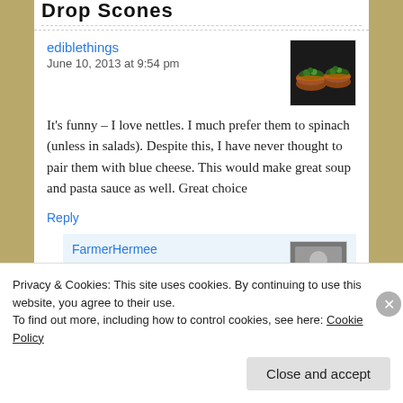Drop Scones
ediblethings
June 10, 2013 at 9:54 pm
[Figure (photo): Avatar image of two small green herb-topped tarts on a dark background]
It’s funny – I love nettles. I much prefer them to spinach (unless in salads). Despite this, I have never thought to pair them with blue cheese. This would make great soup and pasta sauce as well. Great choice
Reply
FarmerHermee
[Figure (photo): Partial avatar image, partially visible at bottom]
Privacy & Cookies: This site uses cookies. By continuing to use this website, you agree to their use.
To find out more, including how to control cookies, see here: Cookie Policy
Close and accept